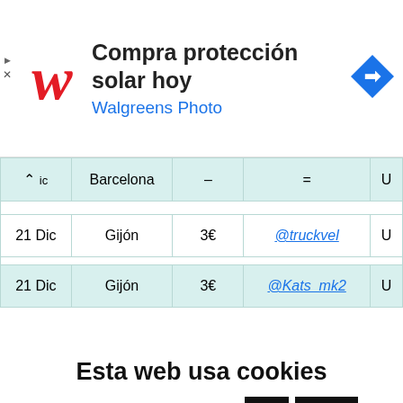[Figure (screenshot): Walgreens Photo advertisement banner with red W logo, text 'Compra protección solar hoy' and blue navigation arrow icon]
| ic | Barcelona | – | = | U |
| --- | --- | --- | --- | --- |
| 21 Dic | Gijón | 3€ | @truckvel | U |
| 21 Dic | Gijón | 3€ | @Kats_mk2 | U |
Esta web usa cookies
Esta página tiene cookies. ¿Las aceptas?
OK  Reject  Leer más